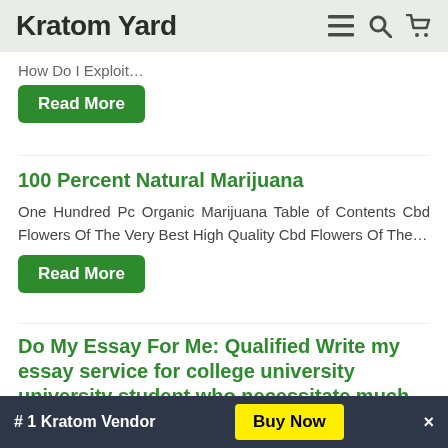Kratom Yard
How Do I Exploit…
Read More
100 Percent Natural Marijuana
One Hundred Pc Organic Marijuana Table of Contents Cbd Flowers Of The Very Best High Quality Cbd Flowers Of The…
Read More
Do My Essay For Me: Qualified Write my essay service for college university university student who necessitate much more time
Do My Essay For Me Qualified Write my essay service…
# 1 Kratom Vendor  Buy Now  ×